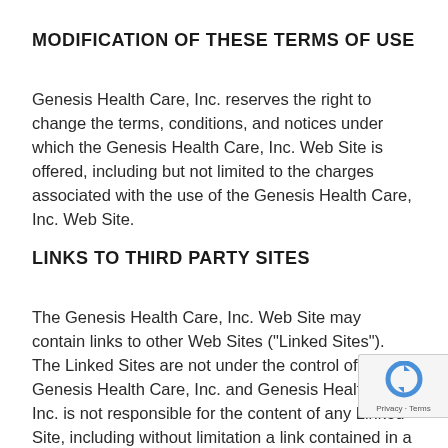MODIFICATION OF THESE TERMS OF USE
Genesis Health Care, Inc. reserves the right to change the terms, conditions, and notices under which the Genesis Health Care, Inc. Web Site is offered, including but not limited to the charges associated with the use of the Genesis Health Care, Inc. Web Site.
LINKS TO THIRD PARTY SITES
The Genesis Health Care, Inc. Web Site may contain links to other Web Sites ("Linked Sites"). The Linked Sites are not under the control of Genesis Health Care, Inc. and Genesis Health Care, Inc. is not responsible for the content of any Linked Site, including without limitation a link contained in a Linked Site, or any changes or updates to a Linked Site. Genesis Health Care, Inc.